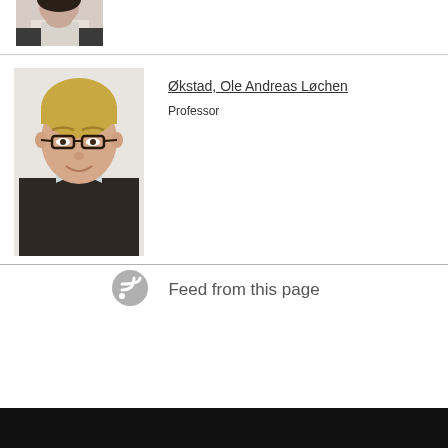[Figure (photo): Partial photo of a woman, cropped at top]
[Figure (photo): Portrait photo of Ole Andreas Løchen, a man with glasses and blonde hair]
Økstad, Ole Andreas Løchen
Professor
Feed from this page